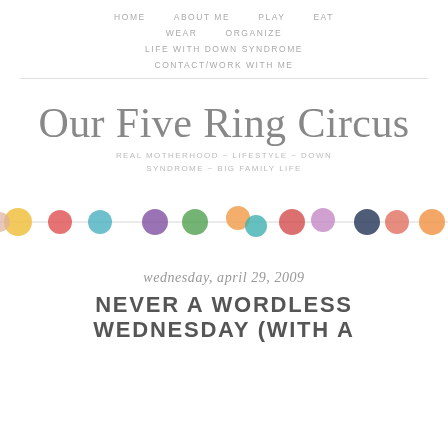HOME   ABOUT ME   PLAY   EAT   WEAR   ORGANIZE   LIFE WITH DOWN SYNDROME   CONTACT/WORK WITH ME
Our Five Ring Circus
REAL MOTHERHOOD ~ LIFESTYLE ~ DOWN SYNDROME ~ BIG FAMILY LIFE
[Figure (illustration): A horizontal decorative banner of colorful watercolor circles/dots in various colors including yellow, red, blue, purple, green, orange, teal, pink, dark blue, salmon, connected by a thin gray line.]
wednesday, april 29, 2009
NEVER A WORDLESS WEDNESDAY (WITH A